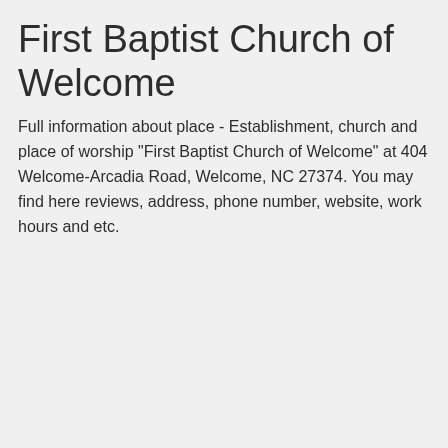First Baptist Church of Welcome
Full information about place - Establishment, church and place of worship "First Baptist Church of Welcome" at 404 Welcome-Arcadia Road, Welcome, NC 27374. You may find here reviews, address, phone number, website, work hours and etc.